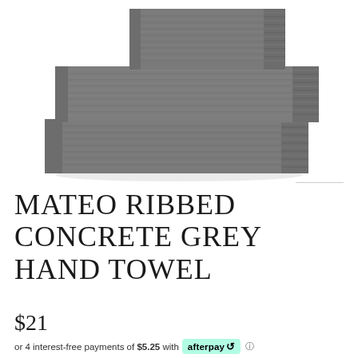[Figure (photo): Stack of three grey ribbed towels on a white background. A small square towel sits on top, followed by two larger folded bath/hand towels stacked beneath it. The towels are a dark concrete grey color with a ribbed texture pattern.]
MATEO RIBBED CONCRETE GREY HAND TOWEL
$21
or 4 interest-free payments of $5.25 with afterpay